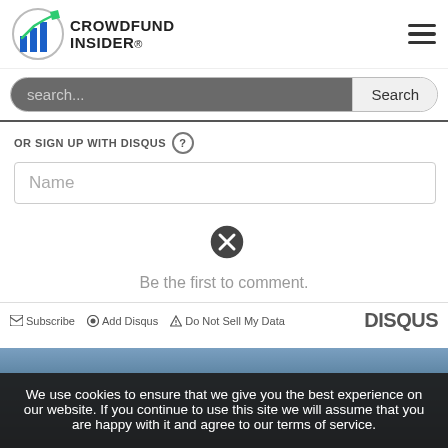[Figure (logo): Crowdfund Insider logo with bar chart icon and site name]
search...
Search
OR SIGN UP WITH DISQUS ?
Name
[Figure (other): Close/X button circle icon]
Be the first to comment.
Subscribe  Add Disqus  Do Not Sell My Data  DISQUS
We use cookies to ensure that we give you the best experience on our website. If you continue to use this site we will assume that you are happy with it and agree to our terms of service.
[Figure (photo): Blurred dark blue background image at bottom of page]